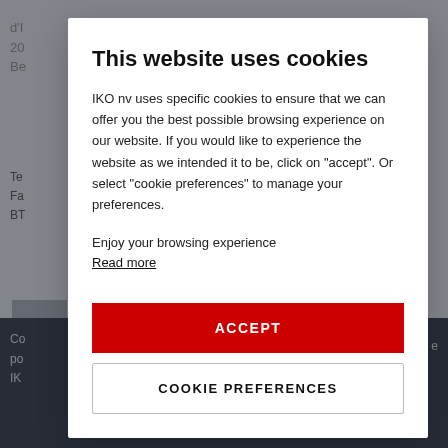[Figure (screenshot): Background webpage screenshot showing partial text 'd'I', '20', 'Be' at top left, and 'Te', 'Fa', 'BT' in middle left, a grey image box, and dark footer area with partial text 'Co', 'po', 'IK' at bottom left and 'e' at bottom right.]
This website uses cookies
IKO nv uses specific cookies to ensure that we can offer you the best possible browsing experience on our website. If you would like to experience the website as we intended it to be, click on "accept". Or select "cookie preferences" to manage your preferences.
Enjoy your browsing experience
Read more
ACCEPT
COOKIE PREFERENCES